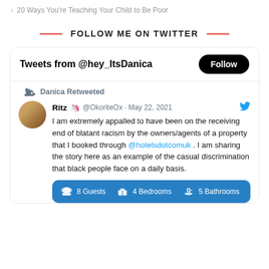> 20 Ways You're Teaching Your Child to Be Poor
FOLLOW ME ON TWITTER
[Figure (screenshot): Twitter widget showing Tweets from @hey_ItsDanica with a Follow button. A retweet by Danica of a tweet by Ritz @OkoriteOx dated May 22, 2021 reading: 'I am extremely appalled to have been on the receiving end of blatant racism by the owners/agents of a property that I booked through @hotelsdotcomuk . I am sharing the story here as an example of the casual discrimination that black people face on a daily basis.' Below the tweet text is a blue property listing preview showing 8 Guests, 4 Bedrooms, 5 Bathrooms.]